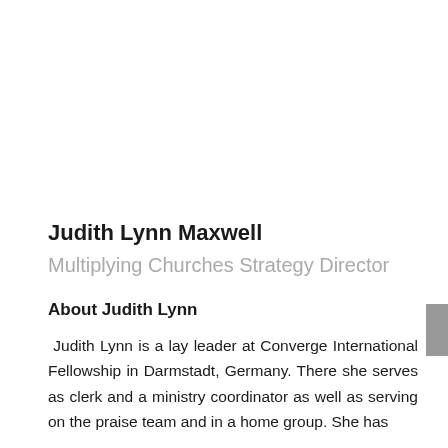Judith Lynn Maxwell
Multiplying Churches Strategy Director
About Judith Lynn
Judith Lynn is a lay leader at Converge International Fellowship in Darmstadt, Germany. There she serves as clerk and a ministry coordinator as well as serving on the praise team and in a home group. She has